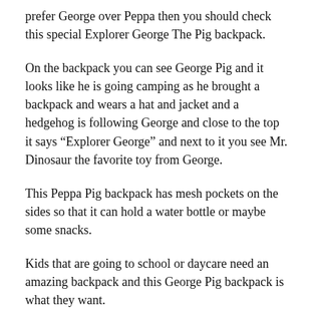prefer George over Peppa then you should check this special Explorer George The Pig backpack.
On the backpack you can see George Pig and it looks like he is going camping as he brought a backpack and wears a hat and jacket and a hedgehog is following George and close to the top it says “Explorer George” and next to it you see Mr. Dinosaur the favorite toy from George.
This Peppa Pig backpack has mesh pockets on the sides so that it can hold a water bottle or maybe some snacks.
Kids that are going to school or daycare need an amazing backpack and this George Pig backpack is what they want.
Read More About The Explorer George The Pig